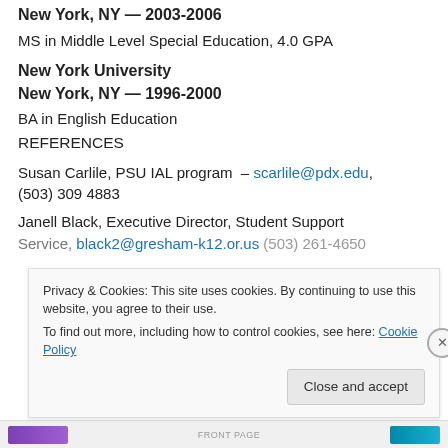New York, NY — 2003-2006
MS in Middle Level Special Education, 4.0 GPA
New York University
New York, NY — 1996-2000
BA in English Education
REFERENCES
Susan Carlile, PSU IAL program  – scarlile@pdx.edu, (503) 309 4883
Janell Black, Executive Director, Student Support Service, black2@gresham-k12.or.us (503) 261-4650
Privacy & Cookies: This site uses cookies. By continuing to use this website, you agree to their use.
To find out more, including how to control cookies, see here: Cookie Policy